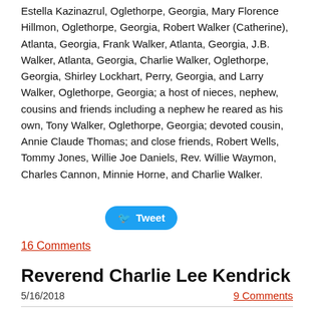Estella Kazinazrul, Oglethorpe, Georgia, Mary Florence Hillmon, Oglethorpe, Georgia, Robert Walker (Catherine), Atlanta, Georgia, Frank Walker, Atlanta, Georgia, J.B. Walker, Atlanta, Georgia, Charlie Walker, Oglethorpe, Georgia, Shirley Lockhart, Perry, Georgia, and Larry Walker, Oglethorpe, Georgia; a host of nieces, nephew, cousins and friends including a nephew he reared as his own, Tony Walker, Oglethorpe, Georgia; devoted cousin, Annie Claude Thomas; and close friends, Robert Wells, Tommy Jones, Willie Joe Daniels, Rev. Willie Waymon, Charles Cannon, Minnie Horne, and Charlie Walker.
[Figure (other): Twitter Tweet button (blue rounded rectangle with bird icon and 'Tweet' text)]
16 Comments
Reverend Charlie Lee Kendrick
5/16/2018
9 Comments
[Figure (photo): Portrait photo of Reverend Charlie Lee Kendrick, showing head and upper shoulders, with gray/white hair.]